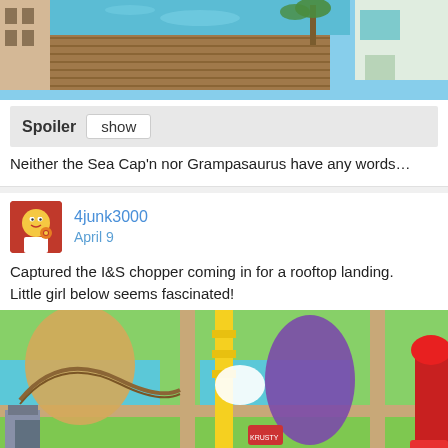[Figure (screenshot): Top portion of a Simpsons Tapped Out game screenshot showing a pool/dock area with blue water and wooden planks]
Spoiler  show
Neither the Sea Cap'n nor Grampasaurus have any words…
4junk3000
April 9
Captured the I&S chopper coming in for a rooftop landing. Little girl below seems fascinated!
[Figure (screenshot): Simpsons Tapped Out game screenshot showing an amusement park area with roller coasters, rides, purple and yellow structures, and cartoon characters]